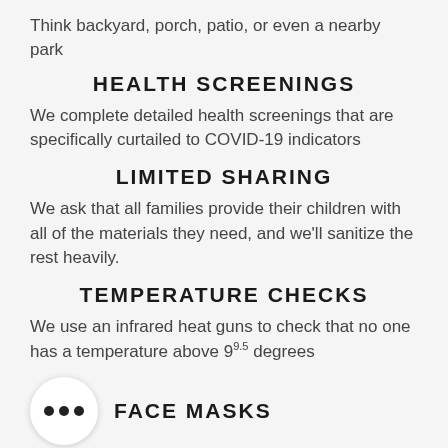Think backyard, porch, patio, or even a nearby park
HEALTH SCREENINGS
We complete detailed health screenings that are specifically curtailed to COVID-19 indicators
LIMITED SHARING
We ask that all families provide their children with all of the materials they need, and we'll sanitize the rest heavily.
TEMPERATURE CHECKS
We use an infrared heat guns to check that no one has a temperature above 99.5 degrees
FACE MASKS
While your child will be wearing a face